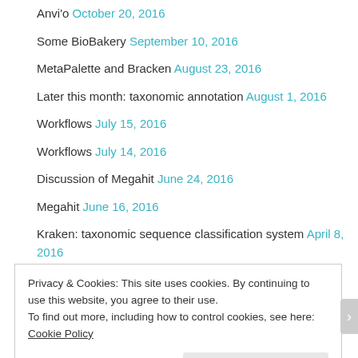Anvi'o October 20, 2016
Some BioBakery September 10, 2016
MetaPalette and Bracken August 23, 2016
Later this month: taxonomic annotation August 1, 2016
Workflows July 15, 2016
Workflows July 14, 2016
Discussion of Megahit June 24, 2016
Megahit June 16, 2016
Kraken: taxonomic sequence classification system April 8, 2016
Privacy & Cookies: This site uses cookies. By continuing to use this website, you agree to their use. To find out more, including how to control cookies, see here: Cookie Policy
Close and accept